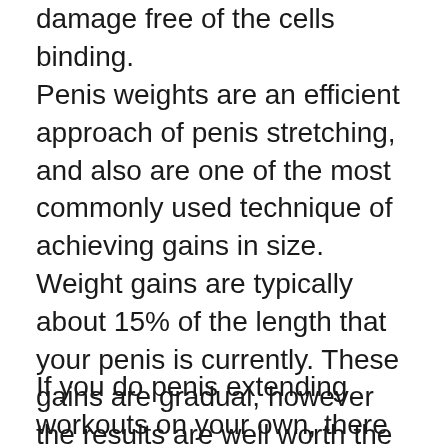penis to stretch and alter. That at some point damage free of the cells binding.
Penis weights are an efficient approach of penis stretching, and also are one of the most commonly used technique of achieving gains in size. Weight gains are typically about 15% of the length that your penis is currently. These gains are gradual, however the results are well worth the delay. It takes a bit longer for the gains to end up being recognizable. As long as you use the weights properly, you will see steady gains in size gradually.
If you do penis extending workouts on your own, there are several exercises that you can do. There are even many different ways that you can do penis extension without having to